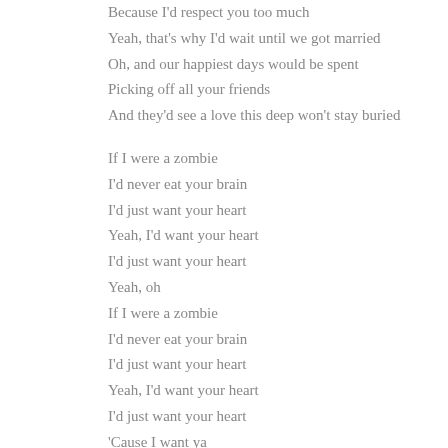Because I'd respect you too much
Yeah, that's why I'd wait until we got married
Oh, and our happiest days would be spent
Picking off all your friends
And they'd see a love this deep won't stay buried
If I were a zombie
I'd never eat your brain
I'd just want your heart
Yeah, I'd want your heart
I'd just want your heart
Yeah, oh
If I were a zombie
I'd never eat your brain
I'd just want your heart
Yeah, I'd want your heart
I'd just want your heart
‘Cause I want ya